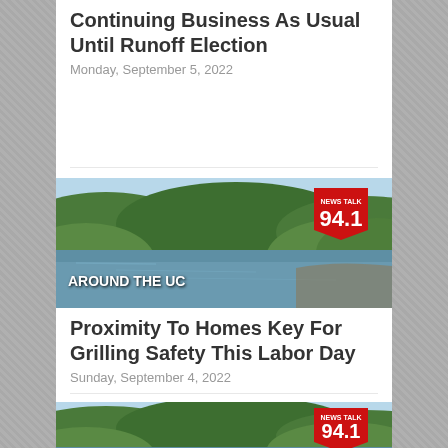Continuing Business As Usual Until Runoff Election
Monday, September 5, 2022
[Figure (photo): Lake/reservoir surrounded by green forested hills with 'Around The UC' text and News Talk 94.1 logo overlay]
Proximity To Homes Key For Grilling Safety This Labor Day
Sunday, September 4, 2022
[Figure (photo): Lake/reservoir surrounded by green forested hills with 'Around The UC' text and News Talk 94.1 logo overlay]